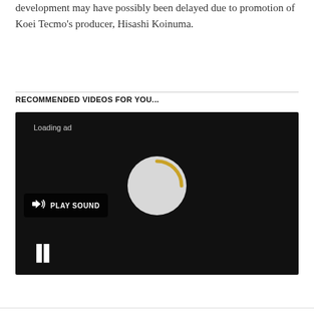development may have possibly been delayed due to promotion of Koei Tecmo’s producer, Hisashi Koinuma.
RECOMMENDED VIDEOS FOR YOU...
[Figure (screenshot): A video player showing a black screen with a loading ad state. A 'Loading ad' label appears in the top left. A gray circular spinner with a gold/yellow arc is centered. A 'PLAY SOUND' button with a speaker icon is on the lower left. A pause button (two vertical bars) is at the bottom left.]